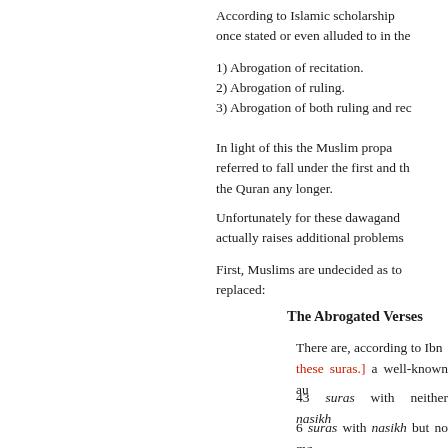According to Islamic scholarship once stated or even alluded to in the
1) Abrogation of recitation.
2) Abrogation of ruling.
3) Abrogation of both ruling and rec
In light of this the Muslim propa referred to fall under the first and th the Quran any longer.
Unfortunately for these dawagand actually raises additional problems
First, Muslims are undecided as to replaced:
The Abrogated Verses
There are, according to Ibn these suras.] a well-known au
43 suras with neither nasikh
6 suras with nasikh but no ma